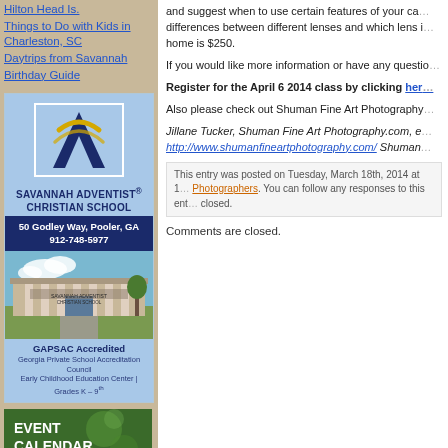Hilton Head Is.
Things to Do with Kids in Charleston, SC
Daytrips from Savannah
Birthday Guide
[Figure (illustration): Savannah Adventist Christian School advertisement with logo, address (50 Godley Way, Pooler, GA, 912-748-5977), school building photo, and GAPSAC Accredited text]
[Figure (illustration): Event Calendar advertisement for southernmamas.com with green background]
and suggest when to use certain features of your ca... differences between different lenses and which lens i... home is $250.
If you would like more information or have any questio...
Register for the April 6 2014 class by clicking her...
Also please check out Shuman Fine Art Photography...
Jillane Tucker, Shuman Fine Art Photography.com, e... http://www.shumanfineartphotography.com/ Shuman...
This entry was posted on Tuesday, March 18th, 2014 at 1... Photographers. You can follow any responses to this ent... closed.
Comments are closed.